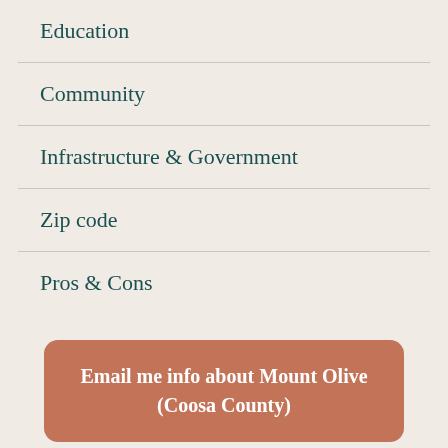Education
Community
Infrastructure & Government
Zip code
Pros & Cons
Email me info about Mount Olive (Coosa County)
Olive (Coosa